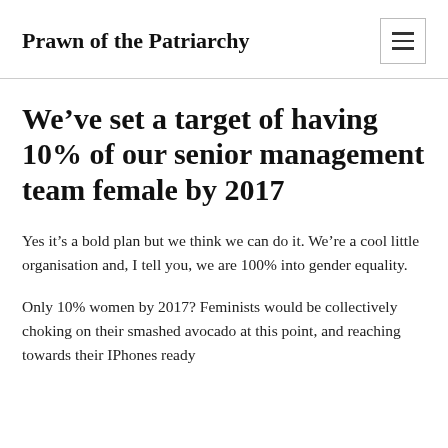Prawn of the Patriarchy
We've set a target of having 10% of our senior management team female by 2017
Yes it's a bold plan but we think we can do it. We're a cool little organisation and, I tell you, we are 100% into gender equality.
Only 10% women by 2017? Feminists would be collectively choking on their smashed avocado at this point, and reaching towards their IPhones ready